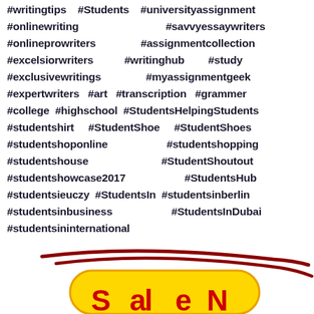#writingtips #Students #universityassignment #onlinewriting #savvyessaywriters #onlineprowriters #assignmentcollection #excelsiorwriters #writinghub #study #exclusivewritings #myassignmentgeek #expertwriters #art #transcription #grammer #college #highschool #StudentsHelpingStudents #studentshirt #StudentShoe #StudentShoes #studentshoponline #studentshopping #studentshouse #StudentShoutout #studentshowcase2017 #StudentsHub #studentsieuczy #StudentsIn #studentsinberlin #studentsinbusiness #StudentsInDubai #studentsininternational
[Figure (logo): Partial logo at bottom of page with yellow curved shape and dark red swoosh lines, with text partially visible]